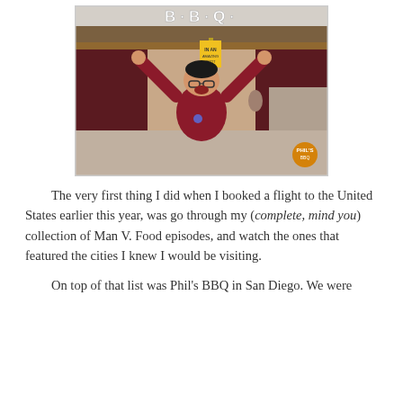[Figure (photo): A man in a red shirt with arms raised in celebration, standing in front of a BBQ restaurant with a large 'B·B·Q·' sign visible at the top.]
The very first thing I did when I booked a flight to the United States earlier this year, was go through my (complete, mind you) collection of Man V. Food episodes, and watch the ones that featured the cities I knew I would be visiting.
On top of that list was Phil's BBQ in San Diego. We were